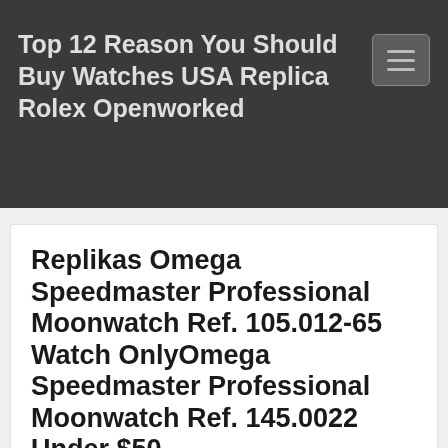Top 12 Reason You Should Buy Watches USA Replica Rolex Openworked
Replikas Omega Speedmaster Professional Moonwatch Ref. 105.012-65 Watch OnlyOmega Speedmaster Professional Moonwatch Ref. 145.0022 Under $50
March 3, 2022   admin   7 Guides To Take Care Of Omega Replica Watches 90% Off